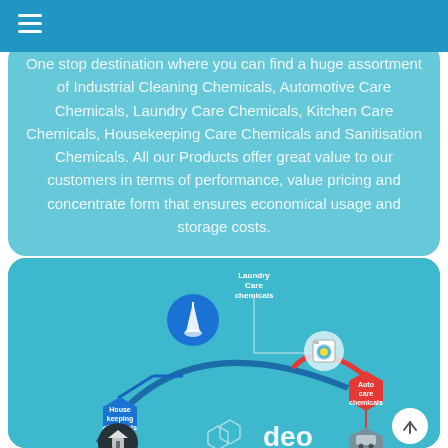One stop destination where you can find a huge assortment of Industrial Cleaning Chemicals, Automotive Care Chemicals, Laundry Care Chemicals, Kitchen Care Chemicals, Housekeeping Care Chemicals and Sanitisation Chemicals. All our Products offer great value to our customers in terms of performance, value pricing and concentrate form that ensures economical usage and storage costs.
[Figure (infographic): Mind-map/infographic diagram showing chemical product categories: Laundry Care chemicals (top center), Auto care chemicals (right, red hexagon), Housekeeping chemicals (left, blue hexagon), with a central blue arc, a broom icon, washing machine icon, car icon, and the 'deo' brand logo at bottom center.]